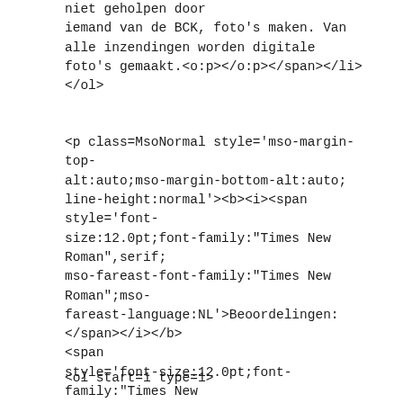niet geholpen door
iemand van de BCK, foto's maken. Van alle inzendingen worden digitale
foto's gemaakt.<o:p></o:p></span></li>
</ol>
<p class=MsoNormal style='mso-margin-top-alt:auto;mso-margin-bottom-alt:auto;line-height:normal'><b><i><span style='font-size:12.0pt;font-family:"Times New Roman",serif;mso-fareast-font-family:"Times New Roman";mso-fareast-language:NL'>Beoordelingen:</span></i></b><span style='font-size:12.0pt;font-family:"Times New Roman",serif;mso-fareast-font-family:"Times New Roman";mso-fareast-language:NL'>&nbsp;<o:p></o:p></span></p>
<ol start=1 type=1>